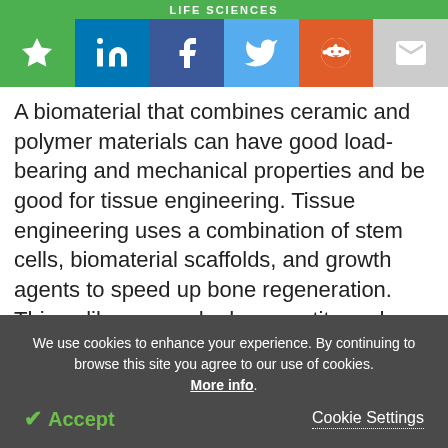LIFE SCIENCES
[Figure (other): Social share bar with star/bookmark, LinkedIn, Facebook, Twitter, Reddit, and email icons]
A biomaterial that combines ceramic and polymer materials can have good load-bearing and mechanical properties and be good for tissue engineering. Tissue engineering uses a combination of stem cells, biomaterial scaffolds, and growth agents to speed up bone regeneration. Things like porous hydroxyapatite and collagen mixes can be successful especially if used with mesenchymal cells. Many biomaterials are designed to mimic natural bone's ability to heal by
We use cookies to enhance your experience. By continuing to browse this site you agree to our use of cookies. More info. Accept  Cookie Settings